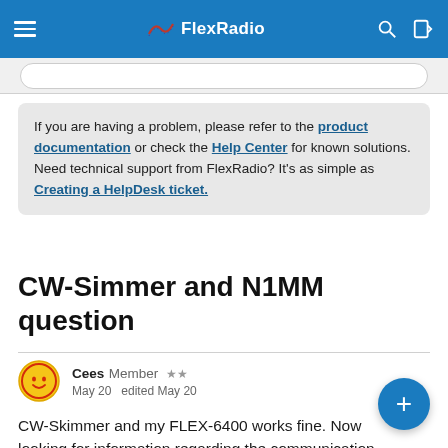FlexRadio
If you are having a problem, please refer to the product documentation or check the Help Center for known solutions.
Need technical support from FlexRadio? It's as simple as Creating a HelpDesk ticket.
CW-Simmer and N1MM question
Cees  Member  ★★
May 20   edited May 20
CW-Skimmer and my FLEX-6400 works fine. Now looking for information regarding the communication between N1MM and CW-Skimmer